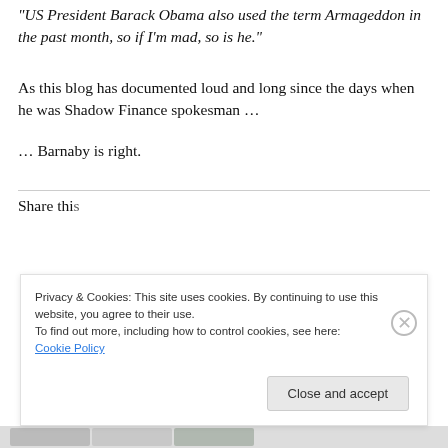"US President Barack Obama also used the term Armageddon in the past month, so if I'm mad, so is he."
As this blog has documented loud and long since the days when he was Shadow Finance spokesman …
… Barnaby is right.
Share this
Privacy & Cookies: This site uses cookies. By continuing to use this website, you agree to their use.
To find out more, including how to control cookies, see here: Cookie Policy